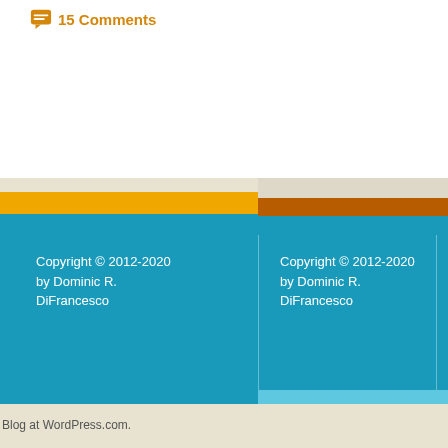15 Comments
Copyright © 2012-2020 by Dominic R. DiFrancesco
Copyright © 2012-2020 by Dominic R. DiFrancesco
Blog at WordPress.com.